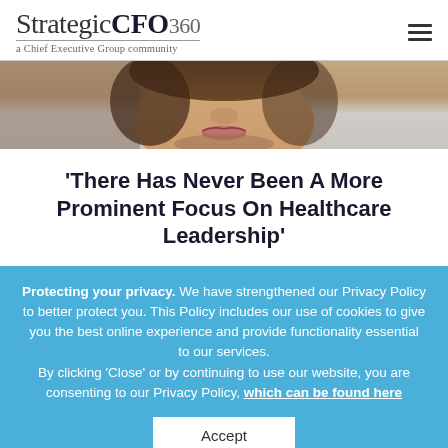StrategicCFO360 — a Chief Executive Group community
[Figure (photo): Close-up photo of a person's face (chin, lips, nose partially visible) with brown/tan background]
'There Has Never Been A More Prominent Focus On Healthcare Leadership'
Protecting your privacy. We have strengthened our Privacy Policy to better protect you. This Policy includes our use of cookies to give you the best online experience and provide functionality essential to our services. By clicking 'Close' or by continuing to use our website, you are consenting to our Privacy Policy, which can be found here
Accept